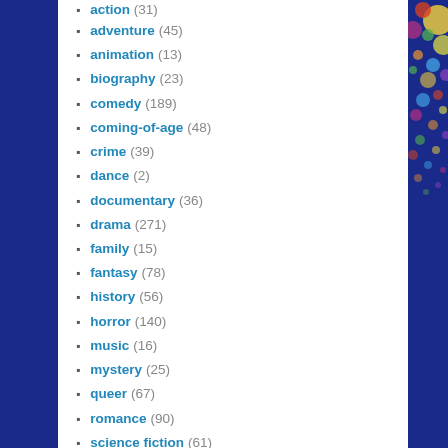action (31)
adventure (45)
animation (13)
biography (23)
comedy (189)
coming-of-age (48)
crime (39)
dance (2)
documentary (36)
drama (271)
family (15)
fantasy (78)
history (56)
horror (140)
music (16)
mystery (25)
queer (67)
romance (90)
science fiction (61)
short film (16)
thriller (29)
war (5)